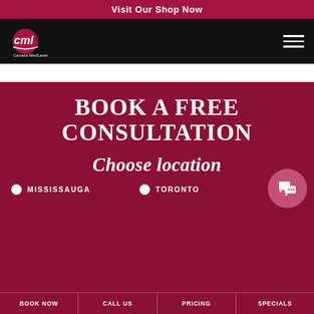Visit Our Shop Now
[Figure (logo): Canada MedLaser logo on black navigation bar with hamburger menu]
BOOK A FREE CONSULTATION
Choose location
MISSISSAUGA
TORONTO
BOOK NOW | CALL US | PRICING | SPECIALS